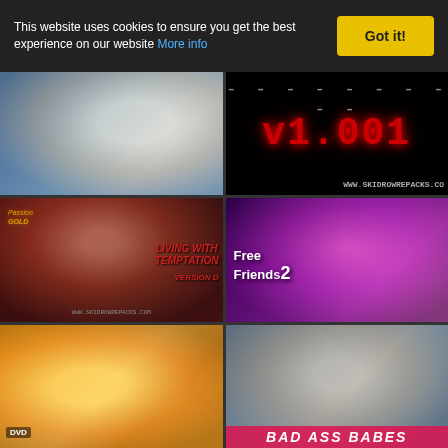This website uses cookies to ensure you get the best experience on our website More info
[Figure (screenshot): Cookie consent banner with yellow 'Got it!' button on dark background]
[Figure (illustration): Anime girl with white/silver hair against blue background]
[Figure (screenshot): Black screen showing red text 'v1.001' in monospace font with dashes above and watermark 'WWW.SKIDROWREPACKS.CO']
[Figure (illustration): 3D rendered women game cover 'LIVING WITH TEMPTATION' with Passion Gold branding]
[Figure (illustration): Anime girl 'Free Friends 2' with chains on pink/purple background]
[Figure (illustration): Cartoon anime blonde girl DVD]
[Figure (photo): Real women photo with pink bar text at bottom partially visible]